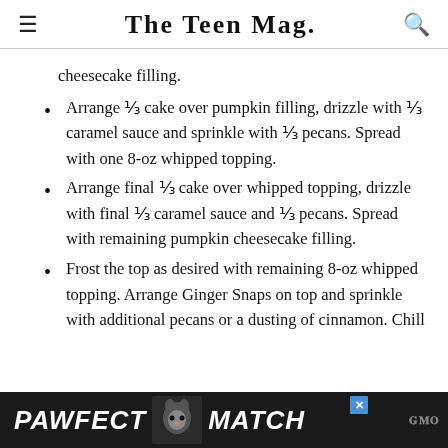The Teen Mag.
cheesecake filling.
Arrange ⅓ cake over pumpkin filling, drizzle with ⅓ caramel sauce and sprinkle with ⅓ pecans. Spread with one 8-oz whipped topping.
Arrange final ⅓ cake over whipped topping, drizzle with final ⅓ caramel sauce and ⅓ pecans. Spread with remaining pumpkin cheesecake filling.
Frost the top as desired with remaining 8-oz whipped topping. Arrange Ginger Snaps on top and sprinkle with additional pecans or a dusting of cinnamon. Chill
[Figure (other): PAWFECT MATCH advertisement banner with cat image]